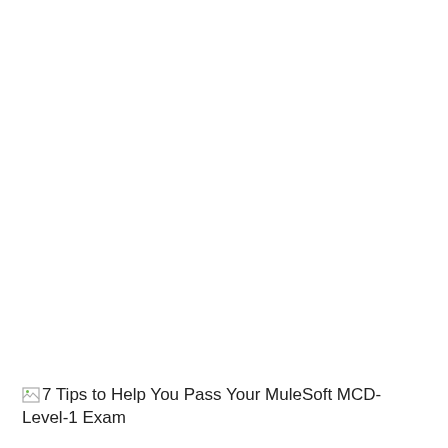[broken image] 7 Tips to Help You Pass Your MuleSoft MCD-Level-1 Exam